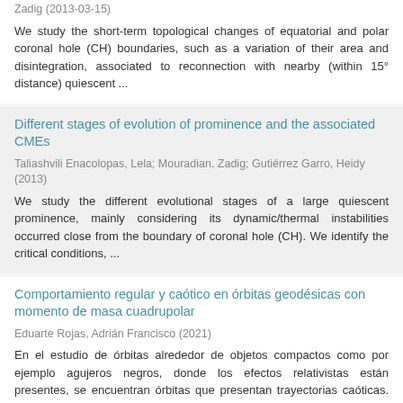Zadig (2013-03-15)
We study the short-term topological changes of equatorial and polar coronal hole (CH) boundaries, such as a variation of their area and disintegration, associated to reconnection with nearby (within 15° distance) quiescent ...
Different stages of evolution of prominence and the associated CMEs
Taliashvili Enacolopas, Lela; Mouradian, Zadig; Gutiérrez Garro, Heidy (2013)
We study the different evolutional stages of a large quiescent prominence, mainly considering its dynamic/thermal instabilities occurred close from the boundary of coronal hole (CH). We identify the critical conditions, ...
Comportamiento regular y caótico en órbitas geodésicas con momento de masa cuadrupolar
Eduarte Rojas, Adrián Francisco (2021)
En el estudio de órbitas alrededor de objetos compactos como por ejemplo agujeros negros, donde los efectos relativistas están presentes, se encuentran órbitas que presentan trayectorias caóticas. Estudiamos el movimiento ...